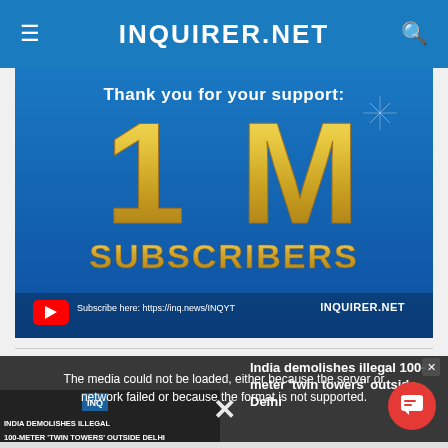INQUIRER.NET
[Figure (screenshot): Inquirer.net YouTube channel milestone image showing '1M SUBSCRIBERS' in large gold text on blue background with YouTube subscribe link and INQUIRER.NET branding]
The media could not be loaded, either because the server or network failed or because the format is not supported.
India demolishes illegal 100-meter 'twin towers' outside Delhi
[Figure (screenshot): Video thumbnail showing 'INDIA DEMOLISHES ILLEGAL 100-METER TWIN TOWERS OUTSIDE DELHI' text overlay on dark background]